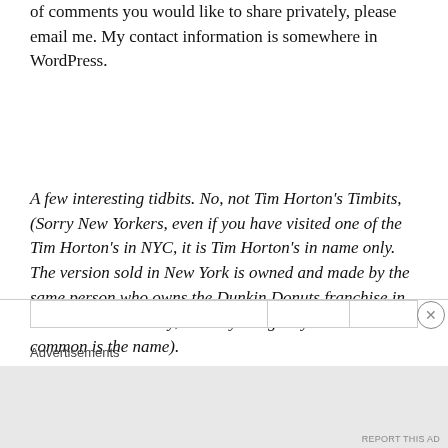of comments you would like to share privately, please email me.  My contact information is somewhere in WordPress.
A few interesting tidbits. No, not Tim Horton's Timbits, (Sorry New Yorkers, even if you have visited one of the Tim Horton's in NYC, it is Tim Horton's in name only. The version sold in New York is owned and made by the same person who owns the Dunkin Donuts franchise in NYC.  Needless to say, the only thing they have in common is the name).
Advertisements